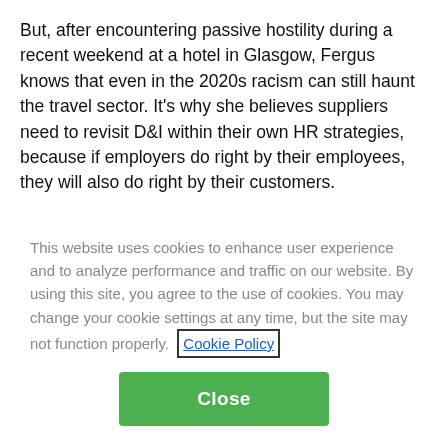But, after encountering passive hostility during a recent weekend at a hotel in Glasgow, Fergus knows that even in the 2020s racism can still haunt the travel sector. It's why she believes suppliers need to revisit D&I within their own HR strategies, because if employers do right by their employees, they will also do right by their customers.
“You used to get signs up at accommodation saying ‘No dogs, no Irish, no blacks’,” says Fergus. “It’s not as obvious as that any more. But if suppliers such as hotels get their own house in order, then by default problems such as unconscious bias and white
This website uses cookies to enhance user experience and to analyze performance and traffic on our website. By using this site, you agree to the use of cookies. You may change your cookie settings at any time, but the site may not function properly. Cookie Policy
Close